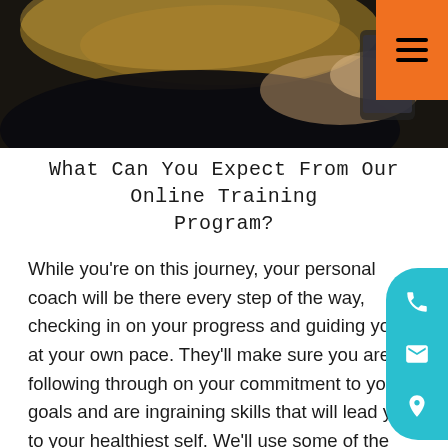[Figure (photo): A person with blonde hair looking at a smartphone, dark background, photographed from above/side angle]
What Can You Expect From Our Online Training Program?
While you're on this journey, your personal coach will be there every step of the way, checking in on your progress and guiding you at your own pace. They'll make sure you are following through on your commitment to your goals and are ingraining skills that will lead you to your healthiest self. We'll use some of the most effective tech resources to stay connected and track progress, as well as the latest scientifically proven methods for body transformation. Whether you want more freedom and flexibility in your workout routines, want to work from home, or just need to get started, the PEAK program will